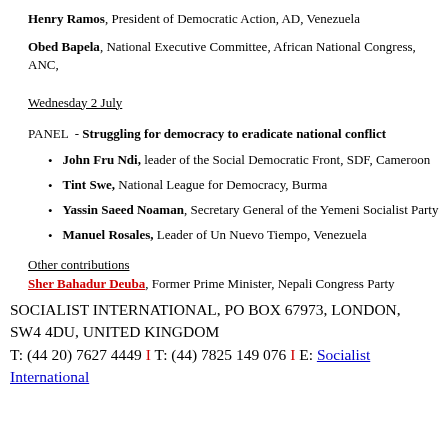Henry Ramos, President of Democratic Action, AD, Venezuela
Obed Bapela, National Executive Committee, African National Congress, ANC,
Wednesday 2 July
PANEL  - Struggling for democracy to eradicate national conflict
John Fru Ndi, leader of the Social Democratic Front, SDF, Cameroon
Tint Swe, National League for Democracy, Burma
Yassin Saeed Noaman, Secretary General of the Yemeni Socialist Party
Manuel Rosales, Leader of Un Nuevo Tiempo, Venezuela
Other contributions
Sher Bahadur Deuba, Former Prime Minister, Nepali Congress Party
SOCIALIST INTERNATIONAL, PO BOX 67973, LONDON, SW4 4DU, UNITED KINGDOM
T: (44 20) 7627 4449 | T: (44) 7825 149 076 | E: Socialist International